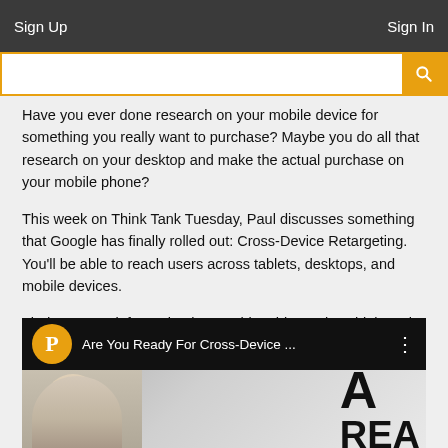Sign Up | Sign In
Have you ever done research on your mobile device for something you really want to purchase? Maybe you do all that research on your desktop and make the actual purchase on your mobile phone?
This week on Think Tank Tuesday, Paul discusses something that Google has finally rolled out: Cross-Device Retargeting. You'll be able to reach users across tablets, desktops, and mobile devices.
Find out more information by watching this week's Think Tank Tuesday!
[Figure (screenshot): Video thumbnail showing 'Are You Ready For Cross-Device ...' with a circular orange logo with white P, and a man's photo on the right with large text 'A REA']